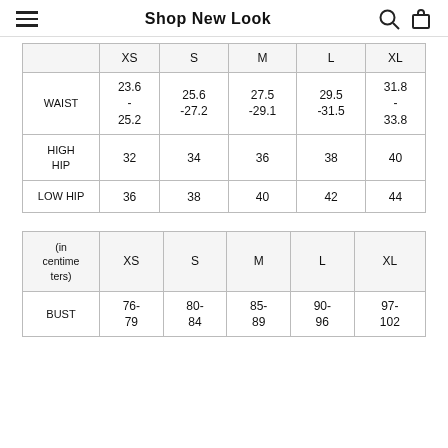Shop New Look
|  | XS | S | M | L | XL |
| --- | --- | --- | --- | --- | --- |
| WAIST | 23.6 - 25.2 | 25.6 -27.2 | 27.5 -29.1 | 29.5 -31.5 | 31.8 - 33.8 |
| HIGH HIP | 32 | 34 | 36 | 38 | 40 |
| LOW HIP | 36 | 38 | 40 | 42 | 44 |
| (in centimeters) | XS | S | M | L | XL |
| --- | --- | --- | --- | --- | --- |
| BUST | 76-79 | 80-84 | 85-89 | 90-96 | 97-102 |